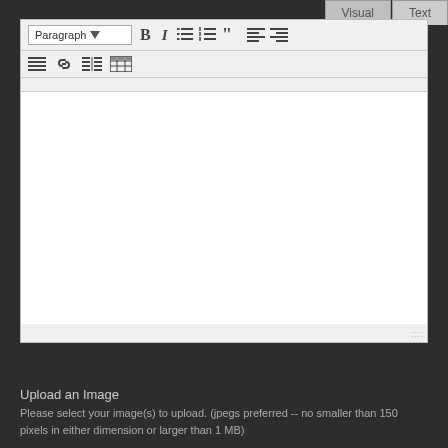[Figure (screenshot): WordPress visual editor toolbar with tabs 'Visual' and 'Text', toolbar rows with formatting buttons (Paragraph dropdown, Bold, Italic, list icons, blockquote, alignment icons, link, table icons), and an empty white text area below]
Upload an Image
Please select your image(s) to upload. (jpegs preferred -- no smaller than 150 pixels in either dimension or larger than 1 MB)